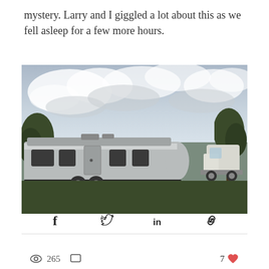mystery. Larry and I giggled a lot about this as we fell asleep for a few more hours.
[Figure (photo): An Airstream travel trailer parked on grass with a cloudy sky in the background and trees visible on both sides. A white truck is partially visible on the right side.]
Share via Facebook, Twitter, LinkedIn, and link icons
265 views, 7 likes